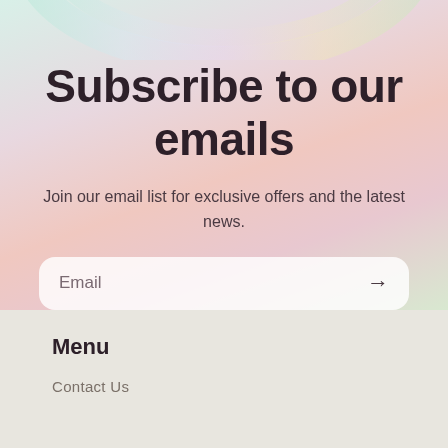Subscribe to our emails
Join our email list for exclusive offers and the latest news.
[Figure (infographic): Email subscription input field with placeholder text 'Email' and a right arrow button, styled with rounded corners and semi-transparent white background]
Menu
Contact Us